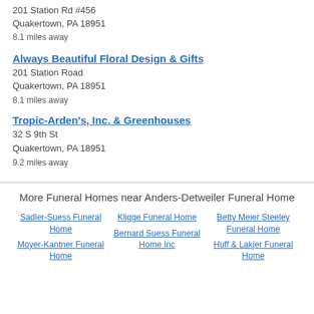201 Station Rd #456
Quakertown, PA 18951
8.1 miles away
Always Beautiful Floral Design & Gifts
201 Station Road
Quakertown, PA 18951
8.1 miles away
Tropic-Arden's, Inc. & Greenhouses
32 S 9th St
Quakertown, PA 18951
9.2 miles away
More Funeral Homes near Anders-Detweiler Funeral Home
Sadler-Suess Funeral Home
Kligge Funeral Home
Betty Meier Steeley Funeral Home
Moyer-Kantner Funeral Home
Bernard Suess Funeral Home Inc
Huff & Lakjer Funeral Home